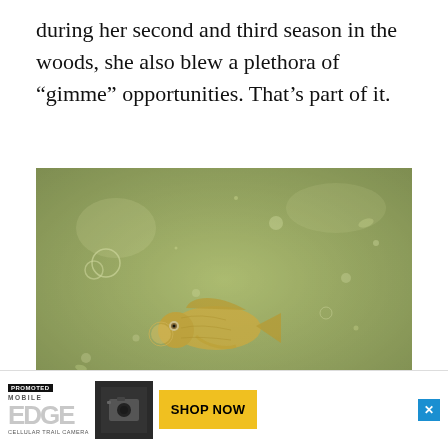during her second and third season in the woods, she also blew a plethora of "gimme" opportunities. That's part of it.
[Figure (photo): Underwater photograph of a fish (appears to be a bass or similar species) swimming in murky green-tinted water with visible bubbles and particles]
But sh... Kentu...